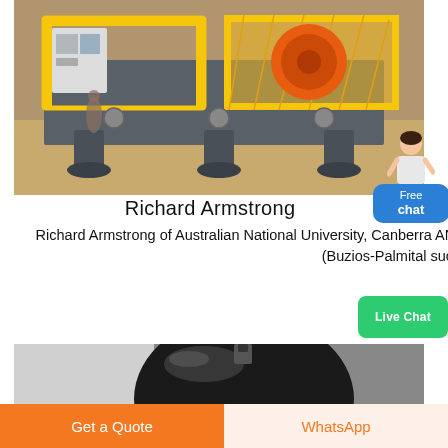[Figure (photo): Industrial jaw crusher / mining machinery on factory floor, grey body with yellow safety guards and orange motor visible, mounted on legs]
Richard Armstrong
Richard Armstrong of Australian National University, Canberra ANU with expertise in Archaeology, Mineralogy, Geology , (Buzios-Palmital successions).
[Figure (photo): Close-up of a shiny black spherical or cylindrical metallic industrial component against a light background]